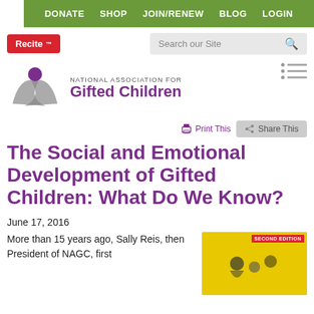DONATE  SHOP  JOIN/RENEW  BLOG  LOGIN
[Figure (logo): Recite button (red) and Search our Site search box]
[Figure (logo): National Association for Gifted Children logo with purple swoosh figure and text]
Print This   Share This
The Social and Emotional Development of Gifted Children: What Do We Know?
June 17, 2016
More than 15 years ago, Sally Reis, then President of NAGC, first
[Figure (photo): Book cover - yellow background with SECOND EDITION badge in red, showing a book about social and emotional development of gifted children]